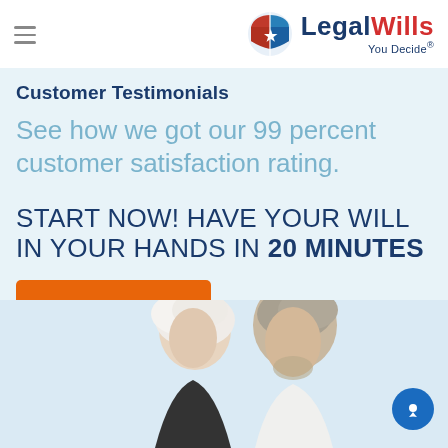LegalWills — You Decide®
Customer Testimonials
See how we got our 99 percent customer satisfaction rating.
START NOW! HAVE YOUR WILL IN YOUR HANDS IN 20 MINUTES
GET STARTED →
[Figure (photo): Elderly couple looking downward, white-haired woman and grey-haired man in partial view]